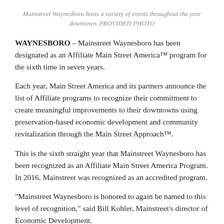Mainstreet Waynesboro hosts a variety of events throughout the year downtown. PROVIDED PHOTO
WAYNESBORO – Mainstreet Waynesboro has been designated as an Affiliate Main Street America™ program for the sixth time in seven years.
Each year, Main Street America and its partners announce the list of Affiliate programs to recognize their commitment to create meaningful improvements to their downtowns using preservation-based economic development and community revitalization through the Main Street Approach™.
This is the sixth straight year that Mainstreet Waynesboro has been recognized as an Affiliate Main Street America Program. In 2016, Mainstreet was recognized as an accredited program.
“Mainstreet Waynesboro is honored to again be named to this level of recognition,” said Bill Kohler, Mainstreet’s director of Economic Development.